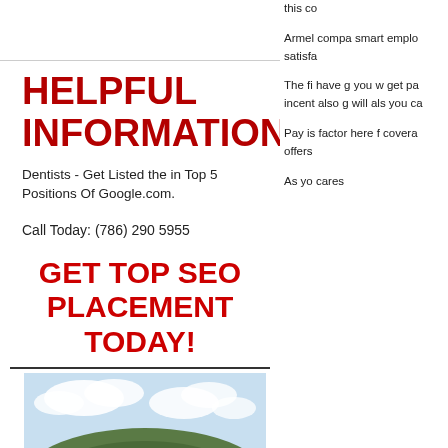HELPFUL INFORMATION:
Dentists - Get Listed the in Top 5 Positions Of Google.com.
Call Today: (786) 290 5955
GET TOP SEO PLACEMENT TODAY!
[Figure (photo): A blue semi-truck with a white trailer driving on a road with a large green hill and clouds in the background]
this co
Armel compa smart emplo satisfa
The fi have g you w get pa incent also g will als you ca
Pay is factor here f covera offers
As yo cares